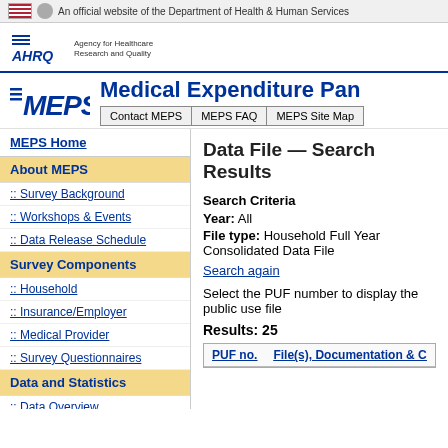An official website of the Department of Health & Human Services
[Figure (logo): AHRQ - Agency for Healthcare Research and Quality logo]
Medical Expenditure Pan
[Figure (logo): MEPS logo]
Contact MEPS | MEPS FAQ | MEPS Site Map
MEPS Home
Data File — Search Results
About MEPS
:: Survey Background
:: Workshops & Events
:: Data Release Schedule
Survey Components
:: Household
:: Insurance/Employer
:: Medical Provider
:: Survey Questionnaires
Data and Statistics
:: Data Overview
Search Criteria
Year: All
File type: Household Full Year Consolidated Data File
Search again
Select the PUF number to display the public use file
Results: 25
| PUF no. | File(s), Documentation & C |
| --- | --- |